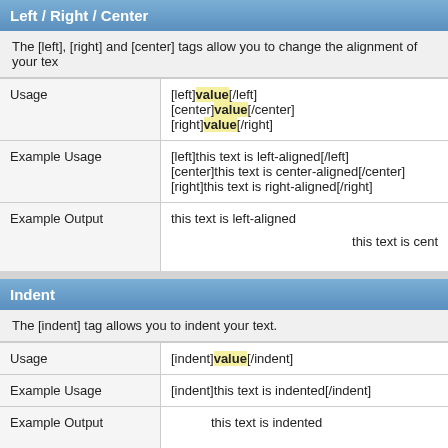Left / Right / Center
The [left], [right] and [center] tags allow you to change the alignment of your te…
|  |  |
| --- | --- |
| Usage | [left]value[/left]
[center]value[/center]
[right]value[/right] |
| Example Usage | [left]this text is left-aligned[/left]
[center]this text is center-aligned[/center]
[right]this text is right-aligned[/right] |
| Example Output | this text is left-aligned
this text is cent… |
Indent
The [indent] tag allows you to indent your text.
|  |  |
| --- | --- |
| Usage | [indent]value[/indent] |
| Example Usage | [indent]this text is indented[/indent] |
| Example Output | this text is indented |
Email Linking
The [email] tag allows you to link to an email address. You can include an optio…
|  |  |
| --- | --- |
| Usage | [email]value[/email] |